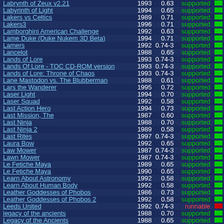| Name | Year | Ver | Status |  |
| --- | --- | --- | --- | --- |
| Labrynth of Zeux v2.21 | 1993 | 0.63 | supported |  |
| Labyrinth of Light | 1994 | 0.65 | supported |  |
| Lakers vs Celtics | 1989 | 0.71 | supported |  |
| Lakers3 | 1996 | 0.71 | supported |  |
| Lamborghini American Challenge | 1992 | 0.63 | supported |  |
| Lame Duke (Duke Nukem 3D Beta) | 1994 | 0.71 | supported |  |
| Lamers | 1992 | 0.74-3 | supported |  |
| Lancelot | 1988 | 0.65 | supported |  |
| Lands of Lore | 1993 | 0.74-3 | supported |  |
| Lands Of Lore - TOC CD-ROM version | 1993 | 0.74-3 | supported |  |
| Lands of Lore: Throne of Chaos | 1993 | 0.74-3 | supported |  |
| Lane Mastodon vs. The Blubberman | 1988 | 0.61 | supported |  |
| Lars the Wanderer | 1995 | 0.72 | supported |  |
| Laser Light | 1994 | 0.70 | supported |  |
| Laser Squad | 1992 | 0.58 | supported |  |
| Last Action Hero | 1994 | 0.73 | supported |  |
| Last Mission, The | 1987 | 0.60 | supported |  |
| Last Ninja | 1988 | 0.70 | supported |  |
| Last Ninja 2 | 1989 | 0.58 | supported |  |
| Last Rites | 1997 | 0.74-3 | supported |  |
| Laura Bow | 1992 | 0.65 | supported |  |
| Law Mower | 1987 | 0.74-3 | supported |  |
| Lawn Mower | 1987 | 0.74-3 | supported |  |
| Le Fetiche Maya | 1989 | 0.65 | supported |  |
| Le Fetiche Maya | 1990 | 0.65 | supported |  |
| Learn About Astronomy | 1992 | 0.58 | supported |  |
| Learn About Human Body | 1992 | 0.58 | supported |  |
| Leather Goddesses of Phobos | 1986 | 0.73 | supported |  |
| Leather Goddesses of Phobos 2 | 1992 | 0.58 | supported |  |
| Leeds United | 1992 | 0.74-3 | runnable |  |
| legacy of the ancients | 1988 | 0.70 | supported |  |
| Legacy of the Ancients | 1988 | 0.65 | supported |  |